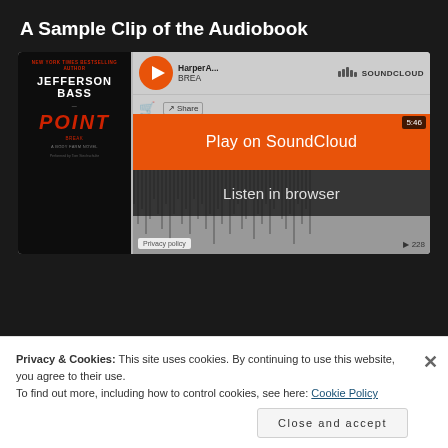A Sample Clip of the Audiobook
[Figure (screenshot): SoundCloud embedded audio player for Jefferson Bass audiobook 'Point' showing play button, waveform, track info (HarperA... BREA), duration 5:46, 228 plays, with orange 'Play on SoundCloud' overlay and 'Listen in browser' option. Privacy policy label in bottom left.]
Privacy & Cookies: This site uses cookies. By continuing to use this website, you agree to their use.
To find out more, including how to control cookies, see here: Cookie Policy
Close and accept